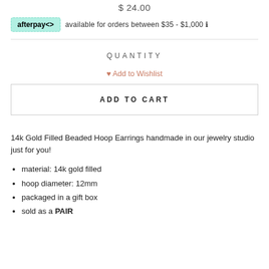$ 24.00
afterpay available for orders between $35 - $1,000 ℹ
QUANTITY
♥ Add to Wishlist
ADD TO CART
14k Gold Filled Beaded Hoop Earrings handmade in our jewelry studio just for you!
material: 14k gold filled
hoop diameter: 12mm
packaged in a gift box
sold as a PAIR